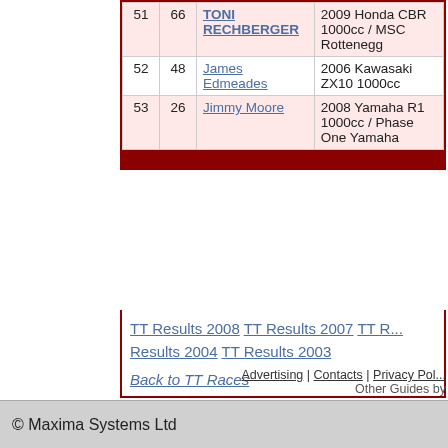| Pos | No | Rider | Machine |
| --- | --- | --- | --- |
| 51 | 66 | TONI RECHBERGER | 2009 Honda CBR 1000cc / MSC Rottenegg |
| 52 | 48 | James Edmeades | 2006 Kawasaki ZX10 1000cc |
| 53 | 26 | Jimmy Moore | 2008 Yamaha R1 1000cc / Phase One Yamaha |
TT Results 2008 TT Results 2007 TT Results 2004 TT Results 2003
Back to TT Races
Advertising | Contacts | Privacy Policy  Other Guides by
© Maxima Systems Ltd